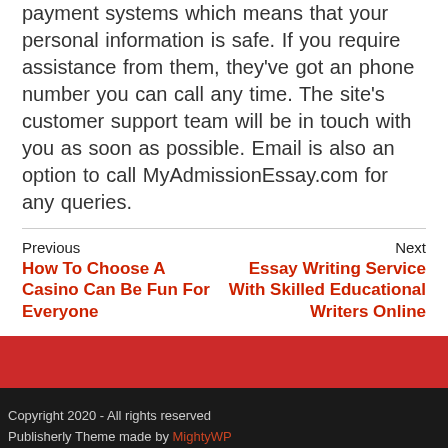payment systems which means that your personal information is safe. If you require assistance from them, they've got an phone number you can call any time. The site's customer support team will be in touch with you as soon as possible. Email is also an option to call MyAdmissionEssay.com for any queries.
Previous
How To Choose A Casino Can Be Fun For Everyone
Next
Essay Writing Service With Skilled Educational Writers Online
Copyright 2020 - All rights reserved
Publisherly Theme made by MightyWP